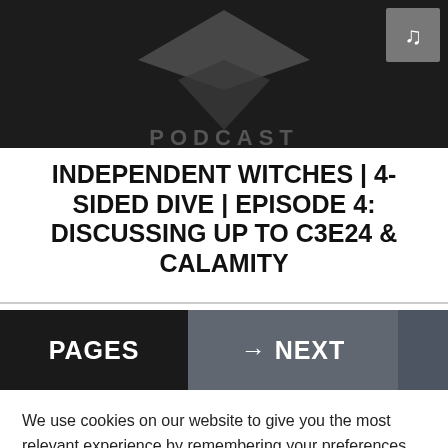[Figure (screenshot): Dark background thumbnail image with a diamond/arrow logo shape and 'PODCAST' text partially visible, with a music note icon in the top right corner]
INDEPENDENT WITCHES | 4-SIDED DIVE | EPISODE 4: DISCUSSING UP TO C3E24 & CALAMITY
PAGES
→ NEXT
We use cookies on our website to give you the most relevant experience by remembering your preferences and repeat visits. By clicking “Accept”, you consent to the use of ALL the cookies.
Cookie settings
ACCEPT